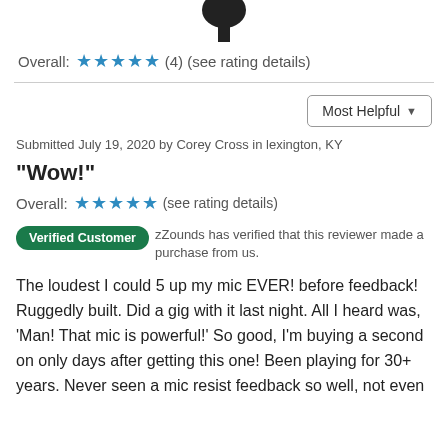[Figure (photo): Partial image of a microphone (black, top portion visible) at the top of the page]
Overall: ★★★★★ (4) (see rating details)
Most Helpful ▼
Submitted July 19, 2020 by Corey Cross in lexington, KY
"Wow!"
Overall: ★★★★★(see rating details)
Verified Customer   zZounds has verified that this reviewer made a purchase from us.
The loudest I could 5 up my mic EVER! before feedback! Ruggedly built. Did a gig with it last night. All I heard was, 'Man! That mic is powerful!' So good, I'm buying a second on only days after getting this one! Been playing for 30+ years. Never seen a mic resist feedback so well, not even